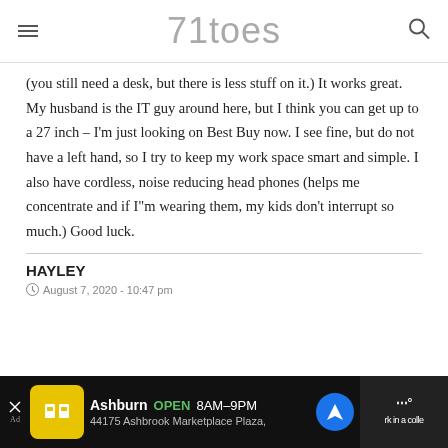71toes
(you still need a desk, but there is less stuff on it.) It works great. My husband is the IT guy around here, but I think you can get up to a 27 inch – I'm just looking on Best Buy now. I see fine, but do not have a left hand, so I try to keep my work space smart and simple. I also have cordless, noise reducing head phones (helps me concentrate and if I"m wearing them, my kids don't interrupt so much.) Good luck.
HAYLEY
August 7, 2020 - 10:47 pm